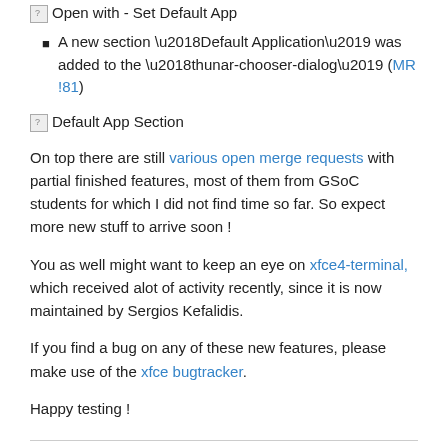[Figure (screenshot): Broken image placeholder labeled 'Open with - Set Default App']
A new section ‘Default Application’ was added to the ‘thunar-chooser-dialog’ (MR !81)
[Figure (screenshot): Broken image placeholder labeled 'Default App Section']
On top there are still various open merge requests with partial finished features, most of them from GSoC students for which I did not find time so far. So expect more new stuff to arrive soon !
You as well might want to keep an eye on xfce4-terminal, which received alot of activity recently, since it is now maintained by Sergios Kefalidis.
If you find a bug on any of these new features, please make use of the xfce bugtracker.
Happy testing !
GSOC contribution summary